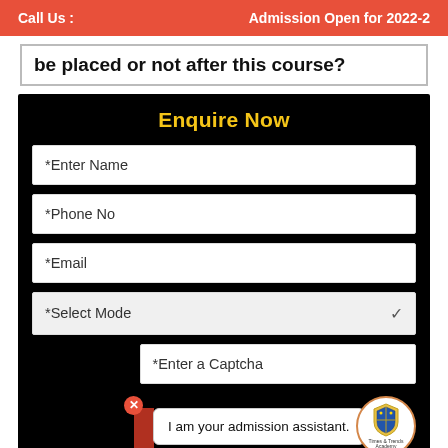Call Us :    Admission Open for 2022-2
be placed or not after this course?
Enquire Now
*Enter Name
*Phone No
*Email
*Select Mode
*Enter a Captcha
I am your admission assistant.